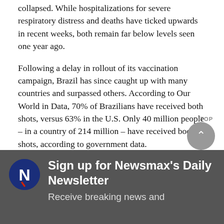collapsed. While hospitalizations for severe respiratory distress and deaths have ticked upwards in recent weeks, both remain far below levels seen one year ago.
Following a delay in rollout of its vaccination campaign, Brazil has since caught up with many countries and surpassed others. According to Our World in Data, 70% of Brazilians have received both shots, versus 63% in the U.S. Only 40 million people – in a country of 214 million – have received booster shots, according to government data.
Over the weekend, Health Minister Marcelo Queiroga was in Amazonas' capital, Manaus, to promote the vaccination effort. And on Wednesday night, back in capital Brasilia, he said Brazil's hospitals are stronger than last year, when the COVID-19 death toll surpassed 4,000 per day, and again stressed the need for vaccines.
[Figure (logo): Newsmax logo — blue circle with white N and red accent]
Sign up for Newsmax's Daily Newsletter
Receive breaking news and